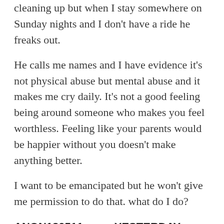cleaning up but when I stay somewhere on Sunday nights and I don't have a ride he freaks out.
He calls me names and I have evidence it's not physical abuse but mental abuse and it makes me cry daily. It's not a good feeling being around someone who makes you feel worthless. Feeling like your parents would be happier without you doesn't make anything better.
I want to be emancipated but he won't give me permission to do that. what do I do?
ANON130511     YESTERDAY
Those of you who are underage need to call